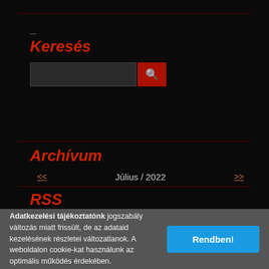Keresés
[Figure (screenshot): Search input box with dark background and a red search button with magnifying glass icon]
Archívum
<< Július / 2022 >>
RSS
Forrás megtekintése
Adatkezelési tájékoztatónk jogszabály változás miatt frissült, de az adataid kezelésének részletei változatlanok. A weboldalon cookie-kat használunk az optimális működés érdekében.
Rendben!